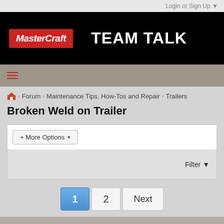Login or Sign Up ▼
[Figure (logo): MasterCraft logo in red box with white italic text, next to TEAM TALK heading in white bold on black background]
[Figure (infographic): Red hamburger menu icon (three horizontal lines) on grey navigation bar]
🏠 > Forum > Maintenance Tips, How-Tos and Repair > Trailers
Broken Weld on Trailer
+ More Options ▾
Filter ▼
1  2  Next